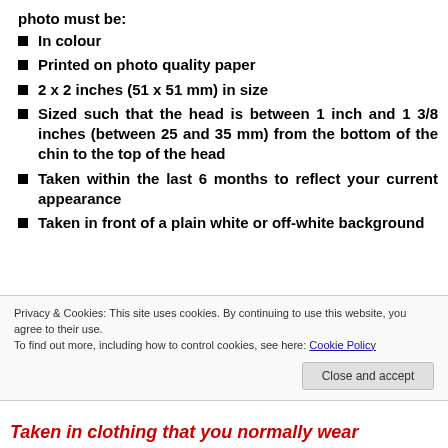photo must be:
In colour
Printed on photo quality paper
2 x 2 inches (51 x 51 mm) in size
Sized such that the head is between 1 inch and 1 3/8 inches (between 25 and 35 mm) from the bottom of the chin to the top of the head
Taken within the last 6 months to reflect your current appearance
Taken in front of a plain white or off-white background
Privacy & Cookies: This site uses cookies. By continuing to use this website, you agree to their use. To find out more, including how to control cookies, see here: Cookie Policy
Taken in clothing that you normally wear